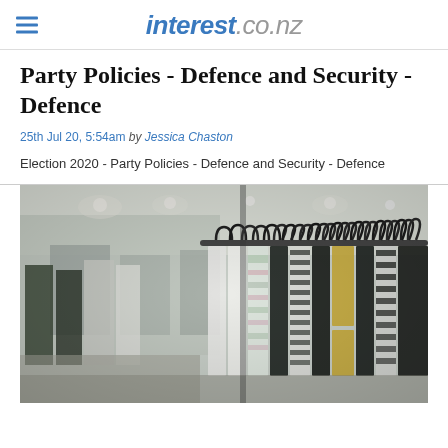interest.co.nz
Party Policies - Defence and Security - Defence
25th Jul 20, 5:54am by Jessica Chaston
Election 2020 - Party Policies - Defence and Security - Defence
[Figure (photo): Photo of a clothing rack in a retail store, showing shirts and garments hanging on hangers, with a blurred store interior in the background featuring lights and displays.]